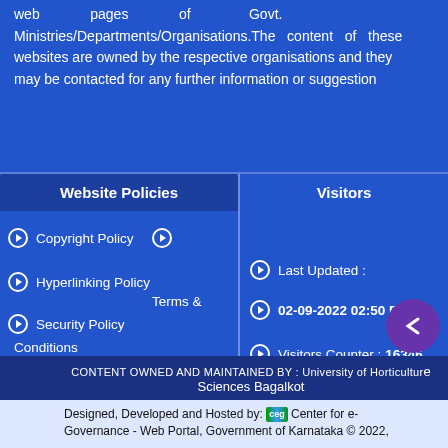web pages of Govt. Ministries/Departments/Organisations.The content of these websites are owned by the respective organisations and they may be contacted for any further information or suggestion
Website Policies
Visitors
Copyright Policy
Hyperlinking Policy
Terms & Conditions
Security Policy
Privacy Policy
Help
Screen Reader Access
Guidelines
Last Updated :
02-09-2022 02:50 PM
Visitors Counter : 16346
Version : CeG/KRN 1.3
CONTENT OWNED AND MAINTAINED BY : University of Horticulture Sciences Bagalkot
Designed, Developed and Hosted by: Center for e-Governance - Web Portal, Government of Karnataka © 2022,